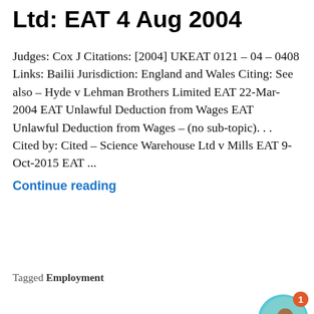Ltd: EAT 4 Aug 2004
Judges: Cox J Citations: [2004] UKEAT 0121 – 04 – 0408 Links: Bailii Jurisdiction: England and Wales Citing: See also – Hyde v Lehman Brothers Limited EAT 22-Mar-2004 EAT Unlawful Deduction from Wages EAT Unlawful Deduction from Wages – (no sub-topic). . . Cited by: Cited – Science Warehouse Ltd v Mills EAT 9-Oct-2015 EAT ...
Continue reading
[Figure (other): Chat widget with woman avatar showing 'Want to ask a Solicitor online now? I can connect you ...' with notification badge showing 1]
Tagged Employment
[Figure (other): Advertisement: Firestone Tire Offer - Virginia Tire & Auto of Ashburn with logo and direction arrow]